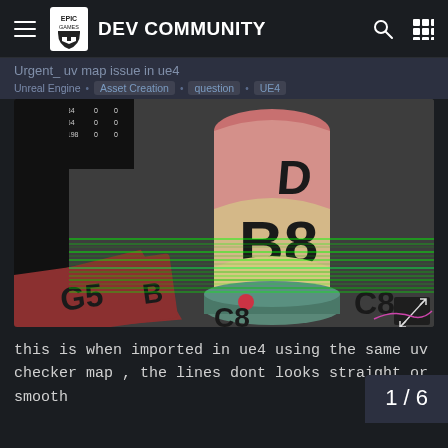Epic Games DEV COMMUNITY
Urgent_ uv map issue in ue4
Unreal Engine • Asset Creation • question • UE4
[Figure (screenshot): A 3D rendering in Unreal Engine 4 showing a cylindrical bullet-shaped object with UV checker map applied. The object displays letters and numbers (D, B8, G5, B, C8, C8) in a UV mapping test. Horizontal green lines are visible across a grey background, indicating UV mapping issues. A small stats panel is visible in the top left corner.]
this is when imported in ue4 using the same uv checker map , the lines dont looks straight or smooth
1 / 6